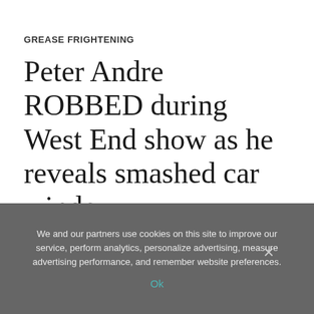GREASE FRIGHTENING
Peter Andre ROBBED during West End show as he reveals smashed car window
We and our partners use cookies on this site to improve our service, perform analytics, personalize advertising, measure advertising performance, and remember website preferences.
Ok